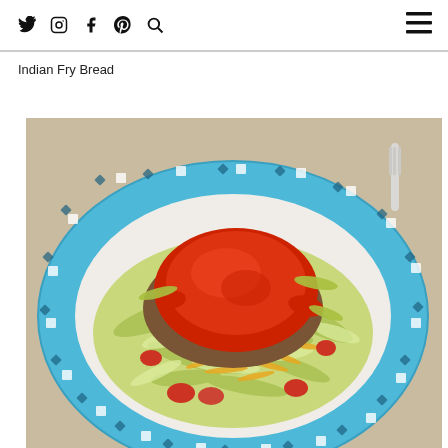Social icons: Twitter, Instagram, Facebook, Pinterest, Search; Hamburger menu
Indian Fry Bread
[Figure (photo): A blue decorative paper plate with Indian Fry Bread taco topped with shredded lettuce, tomatoes, shredded cheese, beans, and red enchilada sauce. A plastic fork is visible in the upper right corner.]